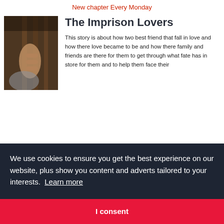New chapter Every Monday
[Figure (photo): Sepia-toned photo of a hand gripping prison bars]
The Imprison Lovers
This story is about how two best friend that fall in love and how there love became to be and how there family and friends are there for them to get through what fate has in store for them and to help them face their
We use cookies to ensure you get the best experience on our website, plus show you content and adverts tailored to your interests. Learn more
I consent